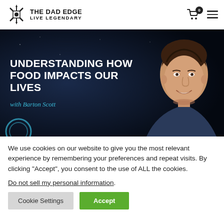THE DAD EDGE LIVE LEGENDARY
[Figure (illustration): Dark banner with bold white text 'UNDERSTANDING HOW FOOD IMPACTS OUR LIVES' with subtext 'with Barton Scott' in cyan, and a photo of a smiling man on the right side against a dark background.]
We use cookies on our website to give you the most relevant experience by remembering your preferences and repeat visits. By clicking "Accept", you consent to the use of ALL the cookies.
Do not sell my personal information.
Cookie Settings  Accept